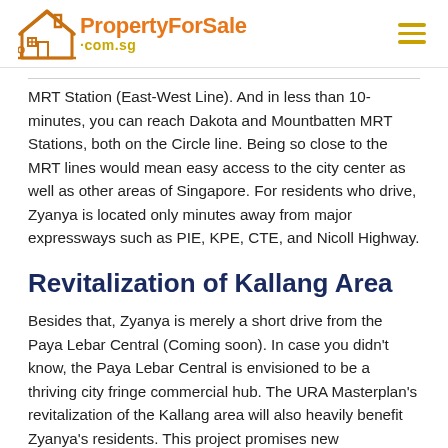PropertyForSale .com.sg
MRT Station (East-West Line). And in less than 10-minutes, you can reach Dakota and Mountbatten MRT Stations, both on the Circle line. Being so close to the MRT lines would mean easy access to the city center as well as other areas of Singapore. For residents who drive, Zyanya is located only minutes away from major expressways such as PIE, KPE, CTE, and Nicoll Highway.
Revitalization of Kallang Area
Besides that, Zyanya is merely a short drive from the Paya Lebar Central (Coming soon). In case you didn't know, the Paya Lebar Central is envisioned to be a thriving city fringe commercial hub. The URA Masterplan's revitalization of the Kallang area will also heavily benefit Zyanya's residents. This project promises new developments, integrated amenities,